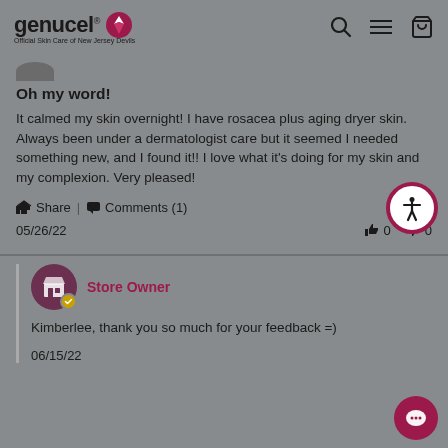genucel Official Skin Care of New Jersey Devils
Oh my word!
It calmed my skin overnight! I have rosacea plus aging dryer skin. Always been under a dermatologist care but it seemed I needed something new, and I found it!! I love what it's doing for my skin and my complexion. Very pleased!
Share | Comments (1)
05/26/22   0   0
Store Owner
Kimberlee, thank you so much for your feedback =)
06/15/22